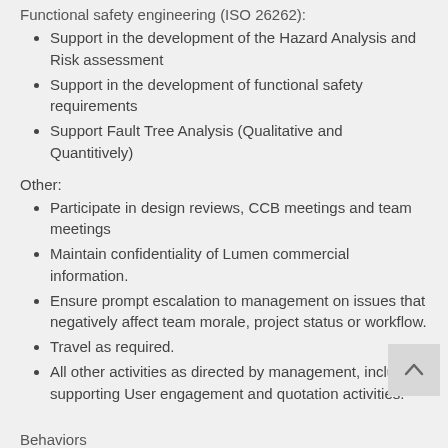Functional safety engineering (ISO 26262):
Support in the development of the Hazard Analysis and Risk assessment
Support in the development of functional safety requirements
Support Fault Tree Analysis (Qualitative and Quantitively)
Other:
Participate in design reviews, CCB meetings and team meetings
Maintain confidentiality of Lumen commercial information.
Ensure prompt escalation to management on issues that negatively affect team morale, project status or workflow.
Travel as required.
All other activities as directed by management, including supporting User engagement and quotation activities.
Behaviors